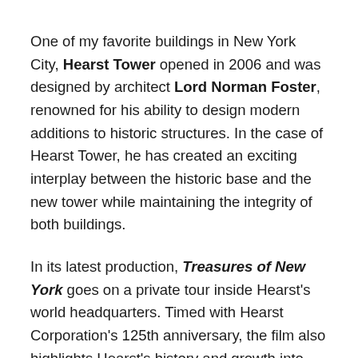One of my favorite buildings in New York City, Hearst Tower opened in 2006 and was designed by architect Lord Norman Foster, renowned for his ability to design modern additions to historic structures. In the case of Hearst Tower, he has created an exciting interplay between the historic base and the new tower while maintaining the integrity of both buildings.
In its latest production, Treasures of New York goes on a private tour inside Hearst's world headquarters. Timed with Hearst Corporation's 125th anniversary, the film also highlights Hearst's history and growth into one of the America's largest diversified media and information companies. Treasures of New York: Hearst Tower premieres Wednesday, March 7, 2012 at 7:00 p.m. (ET) on WLIW21 and Thursday, March 8, 2012 at 8 p.m.